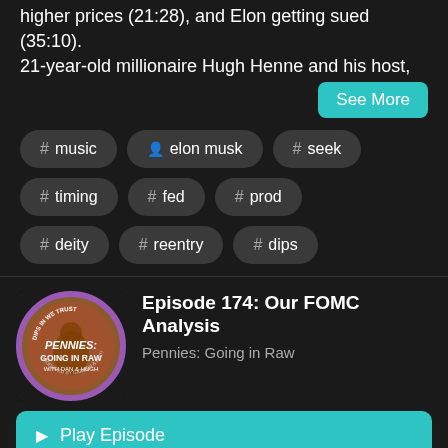higher prices (21:28), and Elon getting sued (35:10). 21-year-old millionaire Hugh Henne and his host,
See More
# music
👤 elon musk
# seek
# timing
# fed
# prod
# deity
# reentry
# dips
[Figure (logo): Pennies: Going in Raw podcast logo - circular coin image with 'PENNIES: GOING IN RAW WITH DAN & HUGH' text]
Episode 174: Our FOMC Analysis
Pennies: Going in Raw
▶ Play Episode
🔖 Listen Later